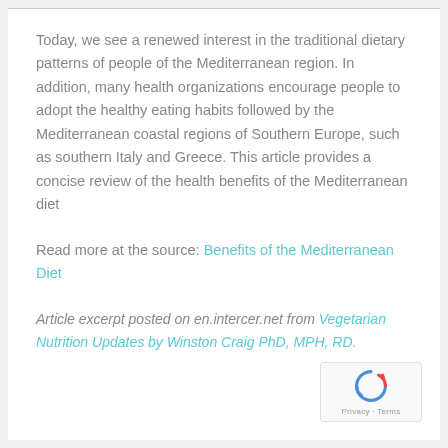Today, we see a renewed interest in the traditional dietary patterns of people of the Mediterranean region. In addition, many health organizations encourage people to adopt the healthy eating habits followed by the Mediterranean coastal regions of Southern Europe, such as southern Italy and Greece. This article provides a concise review of the health benefits of the Mediterranean diet
Read more at the source: Benefits of the Mediterranean Diet
Article excerpt posted on en.intercer.net from Vegetarian Nutrition Updates by Winston Craig PhD, MPH, RD.